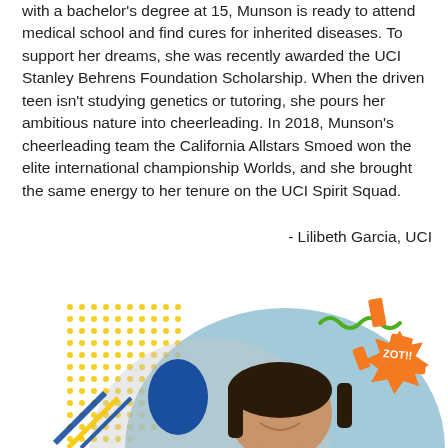with a bachelor's degree at 15, Munson is ready to attend medical school and find cures for inherited diseases. To support her dreams, she was recently awarded the UCI Stanley Behrens Foundation Scholarship. When the driven teen isn't studying genetics or tutoring, she pours her ambitious nature into cheerleading. In 2018, Munson's cheerleading team the California Allstars Smoed won the elite international championship Worlds, and she brought the same energy to her tenure on the UCI Spirit Squad.
- Lilibeth Garcia, UCI
[Figure (photo): Photo of a young woman smiling, with a decorative illustration overlay featuring yellow dots, blue oval shape, orange rectangular confetti, a green squiggly line, striped diagonal lines, and a 'ZOT!!' text badge in orange. The background shows a blue structure.]